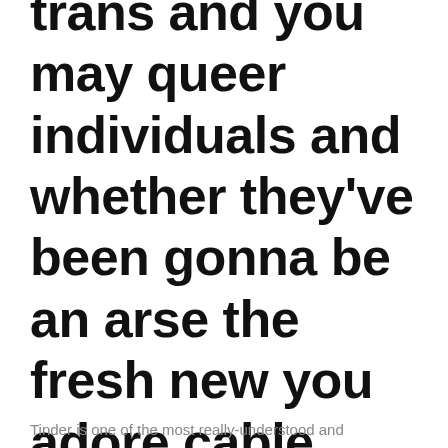trans and you may queer individuals and whether they've been gonna be an arse the fresh new you adore cable
Tinder is one of the most really-understood and